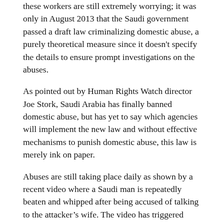these workers are still extremely worrying; it was only in August 2013 that the Saudi government passed a draft law criminalizing domestic abuse, a purely theoretical measure since it doesn't specify the details to ensure prompt investigations on the abuses.
As pointed out by Human Rights Watch director Joe Stork, Saudi Arabia has finally banned domestic abuse, but has yet to say which agencies will implement the new law and without effective mechanisms to punish domestic abuse, this law is merely ink on paper.
Abuses are still taking place daily as shown by a recent video where a Saudi man is repeatedly beaten and whipped after being accused of talking to the attacker's wife. The video has triggered public anger and pushed many human rights organizations to follow the case.
[Figure (photo): Dark/black image block, appears to be a video screenshot or photo, mostly black.]